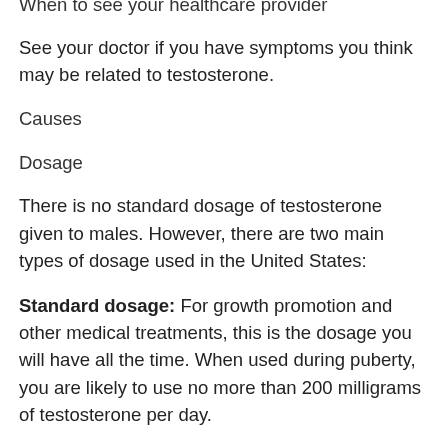When to see your healthcare provider
See your doctor if you have symptoms you think may be related to testosterone.
Causes
Dosage
There is no standard dosage of testosterone given to males. However, there are two main types of dosage used in the United States:
Standard dosage: For growth promotion and other medical treatments, this is the dosage you will have all the time. When used during puberty, you are likely to use no more than 200 milligrams of testosterone per day.
for growth promotion and other medical treatments, this is the dosage you will have all the time. When used during puberty, you